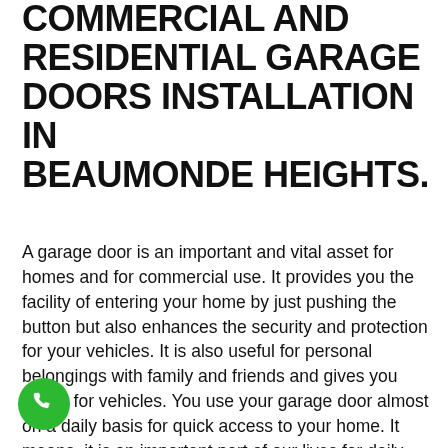COMMERCIAL AND RESIDENTIAL GARAGE DOORS INSTALLATION IN BEAUMONDE HEIGHTS.
A garage door is an important and vital asset for homes and for commercial use. It provides you the facility of entering your home by just pushing the button but also enhances the security and protection for your vehicles. It is also useful for personal belongings with family and friends and gives you safety for vehicles. You use your garage door almost on a daily basis for quick access to your home. It means, it is an important part of our lives for daily consequences. For this reason, Toronto Garage Doors provides you the supreme and best services of Garage Door Installation, and our aim to are quality based work for customers' reliability and convenience. Toronto Garage Doors is